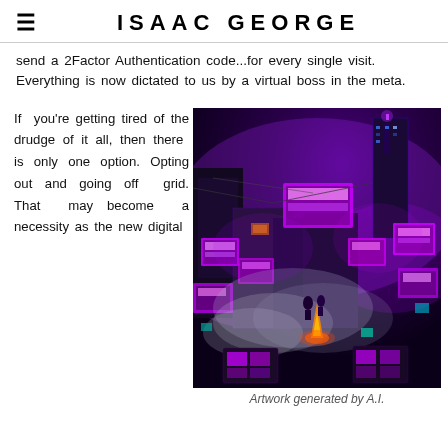ISAAC GEORGE
send a 2Factor Authentication code...for every single visit. Everything is now dictated to us by a virtual boss in the meta.
If you're getting tired of the drudge of it all, then there is only one option. Opting out and going off grid. That may become a necessity as the new digital
[Figure (illustration): AI-generated cyberpunk cityscape with purple neon lights, glowing billboards, smoke, fire, and futuristic urban architecture at night]
Artwork generated by A.I.